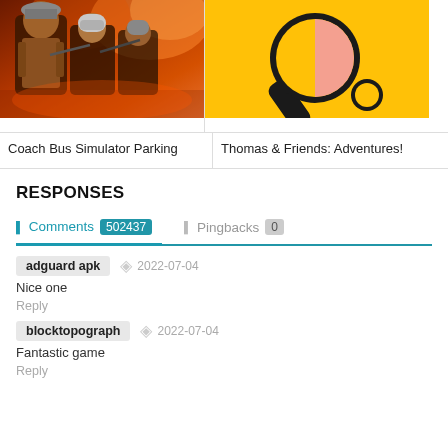[Figure (photo): App icon/screenshot for Coach Bus Simulator Parking — dark action game art with soldiers on orange/red background]
Coach Bus Simulator Parking
[Figure (illustration): App icon for Thomas & Friends: Adventures! — yellow background with ping pong paddle style illustration in black outline with pink fill]
Thomas & Friends: Adventures!
RESPONSES
Comments 502437   Pingbacks 0
adguard apk   2022-07-04
Nice one
Reply
blocktopograph   2022-07-04
Fantastic game
Reply